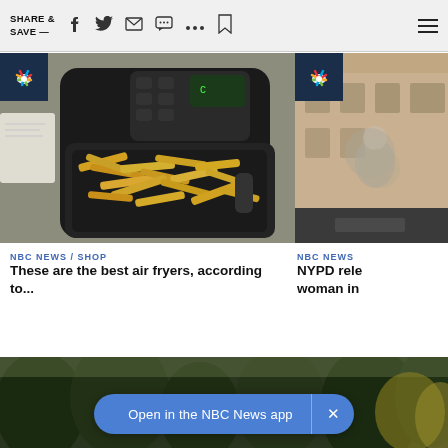SHARE & SAVE —
[Figure (photo): Air fryer with french fries in basket, photographed from above on a countertop]
[Figure (photo): Partially visible second news card showing blurred outdoor scene]
NBC NEWS / SHOP
These are the best air fryers, according to...
NBC NEWS
NYPD rele... woman in...
Open in the NBC News app